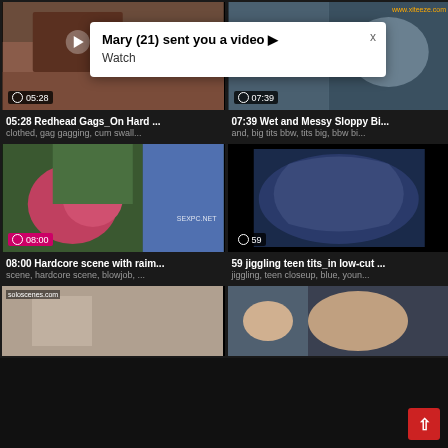[Figure (screenshot): Video thumbnail grid page from adult video website with notification popup overlay. Contains 6 video thumbnails in 2-column grid. Notification popup: 'Mary (21) sent you a video ▶ Watch'. Video 1: 05:28 Redhead Gags_On Hard ... tags: clothed, gag gagging, cum swall... Video 2: 07:39 Wet and Messy Sloppy Bi... tags: and, big tits bbw, tits big, bbw bi... Video 3: 08:00 Hardcore scene with raim... tags: scene, hardcore scene, blowjob, ... Video 4: 59 jiggling teen tits_in low-cut ... tags: jiggling, teen closeup, blue, youn... Plus 2 partial thumbnails at bottom.]